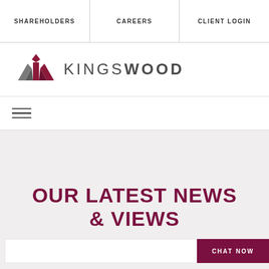SHAREHOLDERS   CAREERS   CLIENT LOGIN
[Figure (logo): Kingswood logo with stylized K icon in dark red/maroon and text KINGSWOOD in dark grey sans-serif capitals]
[Figure (other): Hamburger menu icon with three horizontal lines]
OUR LATEST NEWS & VIEWS
CHAT NOW